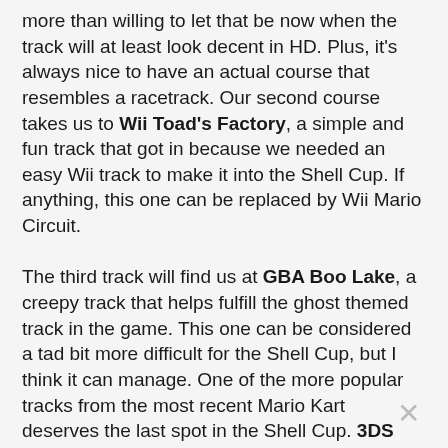more than willing to let that be now when the track will at least look decent in HD. Plus, it's always nice to have an actual course that resembles a racetrack. Our second course takes us to Wii Toad's Factory, a simple and fun track that got in because we needed an easy Wii track to make it into the Shell Cup. If anything, this one can be replaced by Wii Mario Circuit.

The third track will find us at GBA Boo Lake, a creepy track that helps fulfill the ghost themed track in the game. This one can be considered a tad bit more difficult for the Shell Cup, but I think it can manage. One of the more popular tracks from the most recent Mario Kart deserves the last spot in the Shell Cup. 3DS Daisy Hills features a setting fit for an HD console, with a track design that is simple, yet fun. If gliding does not return, this track can still be played with a few slight modifications.